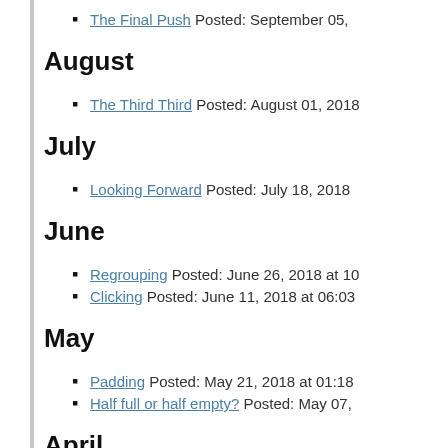The Final Push Posted: September 05,
August
The Third Third Posted: August 01, 2018
July
Looking Forward Posted: July 18, 2018
June
Regrouping Posted: June 26, 2018 at 10
Clicking Posted: June 11, 2018 at 06:03
May
Padding Posted: May 21, 2018 at 01:18
Half full or half empty? Posted: May 07,
April